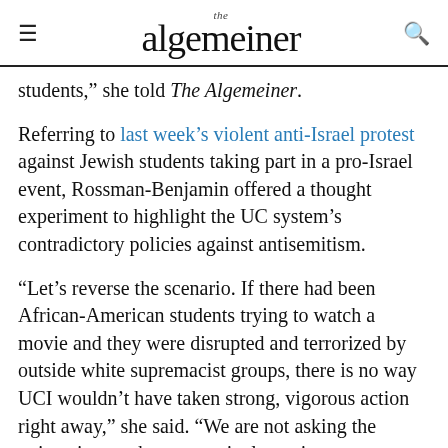the algemeiner
students,” she told The Algemeiner.
Referring to last week’s violent anti-Israel protest against Jewish students taking part in a pro-Israel event, Rossman-Benjamin offered a thought experiment to highlight the UC system’s contradictory policies against antisemitism.
“Let’s reverse the scenario. If there had been African-American students trying to watch a movie and they were disrupted and terrorized by outside white supremacist groups, there is no way UCI wouldn’t have taken strong, vigorous action right away,” she said. “We are not asking the university to take any particular action, except to